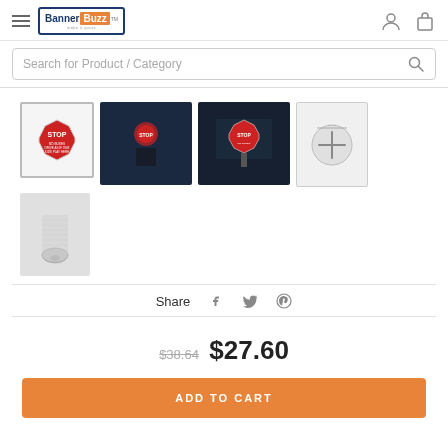[Figure (logo): BannerBuzz logo with hamburger menu icon on the left]
[Figure (screenshot): Search bar with text 'Search for Product / Category' and magnifying glass icon]
[Figure (photo): Product image thumbnails: stop sign, dark outdoor scenes, plus icon, and material sample]
Share
$38.64  $27.60
ADD TO CART